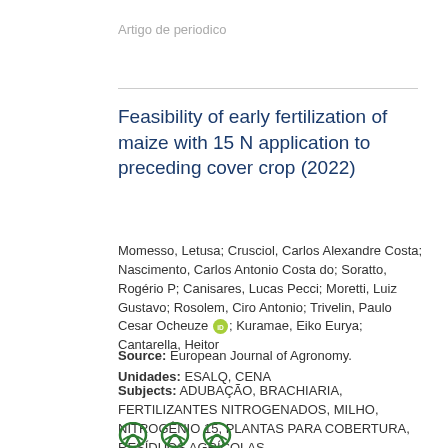Artigo de periodico
Feasibility of early fertilization of maize with 15 N application to preceding cover crop (2022)
Momesso, Letusa; Crusciol, Carlos Alexandre Costa; Nascimento, Carlos Antonio Costa do; Soratto, Rogério P; Canisares, Lucas Pecci; Moretti, Luiz Gustavo; Rosolem, Ciro Antonio; Trivelin, Paulo Cesar Ocheuze [ORCID]; Kuramae, Eiko Eurya; Cantarella, Heitor
Source: European Journal of Agronomy.
Unidades: ESALQ, CENA
Subjects: ADUBAÇÃO, BRACHIARIA, FERTILIZANTES NITROGENADOS, MILHO, NITROGÊNIO 15, PLANTAS PARA COBERTURA, RESÍDUOS AGRÍCOLAS